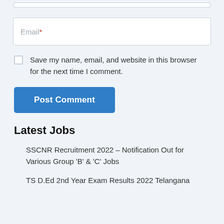[Figure (other): Partial top input field (cropped at top of page)]
Email *
Save my name, email, and website in this browser for the next time I comment.
Post Comment
Latest Jobs
SSCNR Recruitment 2022 – Notification Out for Various Group ‘B’ & ‘C’ Jobs
TS D.Ed 2nd Year Exam Results 2022 Telangana